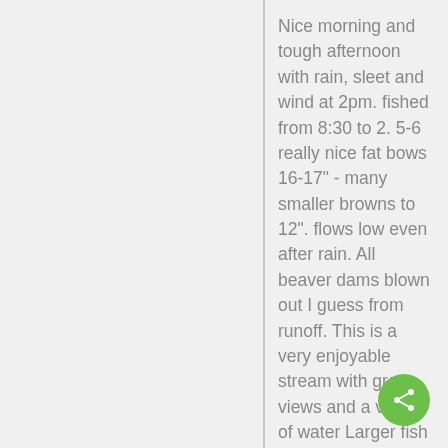Nice morning and tough afternoon with rain, sleet and wind at 2pm. fished from 8:30 to 2. 5-6 really nice fat bows 16-17" - many smaller browns to 12". flows low even after rain. All beaver dams blown out I guess from runoff. This is a very enjoyable stream with great views and a variety of water Larger fish on tan hopper on top and green copper john underneath. equal on both. Almost all colors of CJ brought browns-- Editors note: Other members talk of new beaver dams on the lower end of the property. Thanks for the